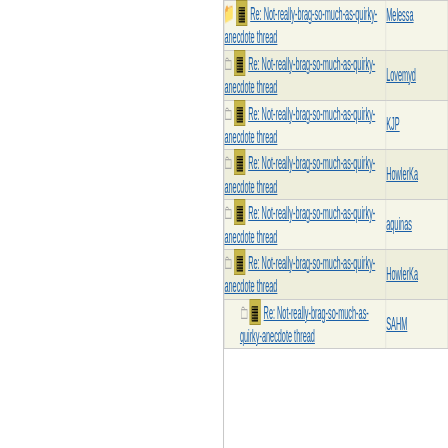| Subject | Author |
| --- | --- |
| Re: Not-really-brag-so-much-as-quirky-anecdote thread | Melessa |
| Re: Not-really-brag-so-much-as-quirky-anecdote thread | Lovemyd |
| Re: Not-really-brag-so-much-as-quirky-anecdote thread | KJP |
| Re: Not-really-brag-so-much-as-quirky-anecdote thread | HowlerKa |
| Re: Not-really-brag-so-much-as-quirky-anecdote thread | aquinas |
| Re: Not-really-brag-so-much-as-quirky-anecdote thread | HowlerKa |
| Re: Not-really-brag-so-much-as-quirky-anecdote thread | SAHM |